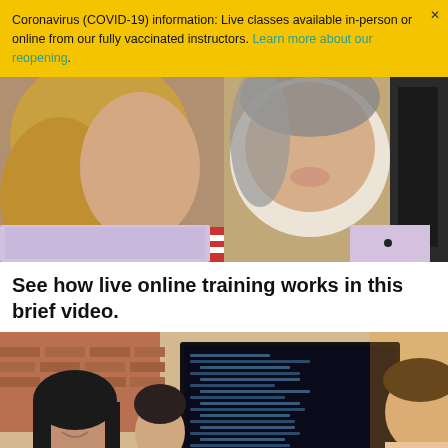Coronavirus (COVID-19) information: Live classes available in-person or online from our fully vaccinated instructors. Learn more about our reopening.
[Figure (photo): Close-up photo of a woman's face partially reflected in a circular mirror, with a laptop visible in the foreground]
See how live online training works in this brief video.
[Figure (photo): Photo of students working at computers in a classroom setting, with a woman smiling in the foreground looking at a monitor with code]